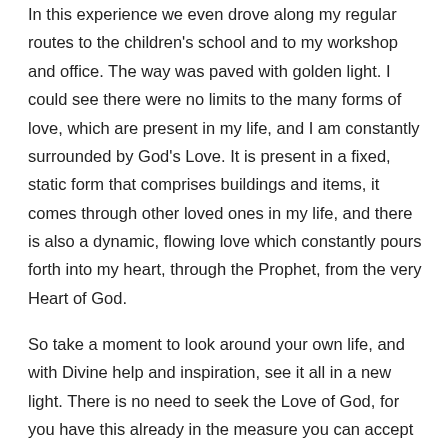In this experience we even drove along my regular routes to the children's school and to my workshop and office. The way was paved with golden light. I could see there were no limits to the many forms of love, which are present in my life, and I am constantly surrounded by God's Love. It is present in a fixed, static form that comprises buildings and items, it comes through other loved ones in my life, and there is also a dynamic, flowing love which constantly pours forth into my heart, through the Prophet, from the very Heart of God.
So take a moment to look around your own life, and with Divine help and inspiration, see it all in a new light. There is no need to seek the Love of God, for you have this already in the measure you can accept today. With gratitude for the life we have today, let us draw nearer to God, and find a more abundant life tomorrow as God responds to our invitations, and